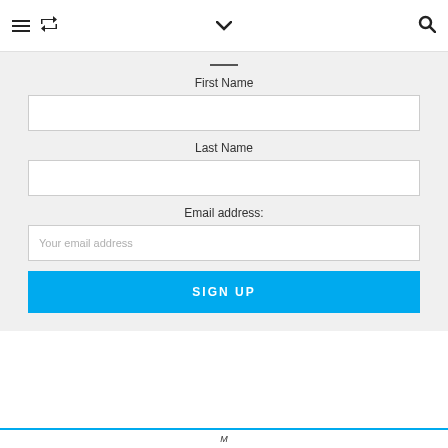Navigation bar with hamburger menu, retweet icon, chevron dropdown, and search icon
First Name
Last Name
Email address:
Your email address
SIGN UP